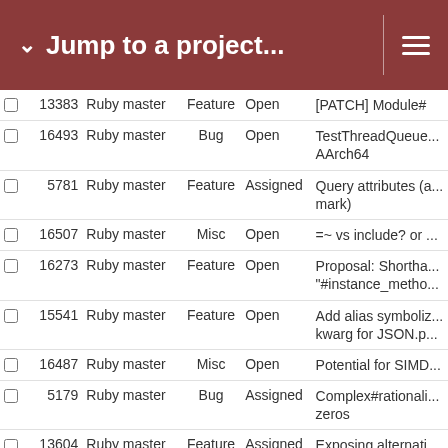Jump to a project...
|  | # | Project | Type | Status | Subject |
| --- | --- | --- | --- | --- | --- |
|  | 13383 | Ruby master | Feature | Open | [PATCH] Module#... |
|  | 16493 | Ruby master | Bug | Open | TestThreadQueue... AArch64 |
|  | 5781 | Ruby master | Feature | Assigned | Query attributes (a... mark) |
|  | 16507 | Ruby master | Misc | Open | =~ vs include? or ... |
|  | 16273 | Ruby master | Feature | Open | Proposal: Shortha... "#instance_metho... |
|  | 15541 | Ruby master | Feature | Open | Add alias symboliz... kwarg for JSON.p... |
|  | 16487 | Ruby master | Misc | Open | Potential for SIMD... |
|  | 5179 | Ruby master | Bug | Assigned | Complex#rationali... zeros |
|  | 13604 | Ruby master | Feature | Assigned | Exposing alternati... |
|  | 16517 | Ruby master | Feature | Open | mkmf.rb - changes... |
|  | 16563 | Ruby master | Feature | Open | Let rb_mod_const... table instead for in... segregation |